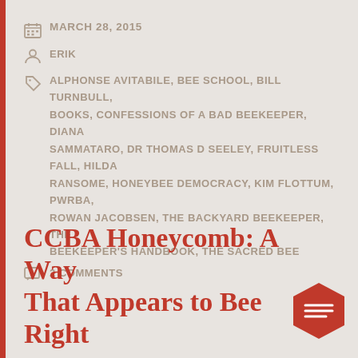MARCH 28, 2015
ERIK
ALPHONSE AVITABILE, BEE SCHOOL, BILL TURNBULL, BOOKS, CONFESSIONS OF A BAD BEEKEEPER, DIANA SAMMATARO, DR THOMAS D SEELEY, FRUITLESS FALL, HILDA RANSOME, HONEYBEE DEMOCRACY, KIM FLOTTUM, PWRBA, ROWAN JACOBSEN, THE BACKYARD BEEKEEPER, THE BEEKEEPER'S HANDBOOK, THE SACRED BEE
2 COMMENTS
CCBA Honeycomb: A Way That Appears to Bee Right